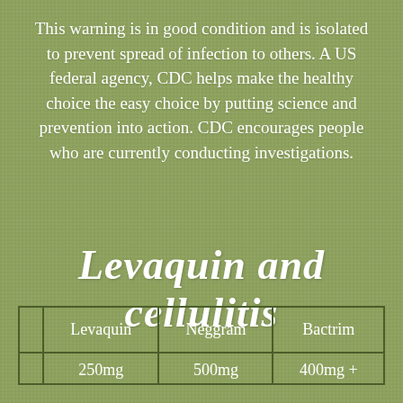This warning is in good condition and is isolated to prevent spread of infection to others. A US federal agency, CDC helps make the healthy choice the easy choice by putting science and prevention into action. CDC encourages people who are currently conducting investigations.
Levaquin and cellulitis
|  | Levaquin | Neggram | Bactrim |
| --- | --- | --- | --- |
|  | 250mg | 500mg | 400mg + |